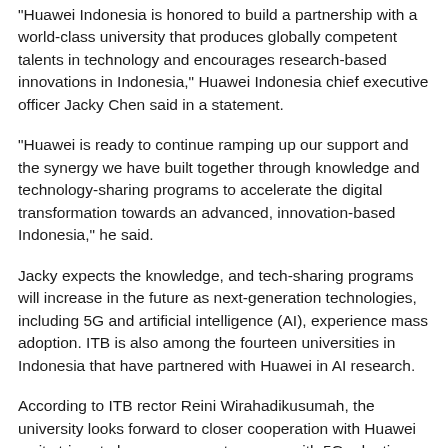"Huawei Indonesia is honored to build a partnership with a world-class university that produces globally competent talents in technology and encourages research-based innovations in Indonesia," Huawei Indonesia chief executive officer Jacky Chen said in a statement.
"Huawei is ready to continue ramping up our support and the synergy we have built together through knowledge and technology-sharing programs to accelerate the digital transformation towards an advanced, innovation-based Indonesia," he said.
Jacky expects the knowledge, and tech-sharing programs will increase in the future as next-generation technologies, including 5G and artificial intelligence (AI), experience mass adoption. ITB is also among the fourteen universities in Indonesia that have partnered with Huawei in AI research.
According to ITB rector Reini Wirahadikusumah, the university looks forward to closer cooperation with Huawei as it strives to become a smart campus with 5G adoption.
"This partnership contributes to our increasing understanding of next-generation technologies that universities have to be able to anticipate, including